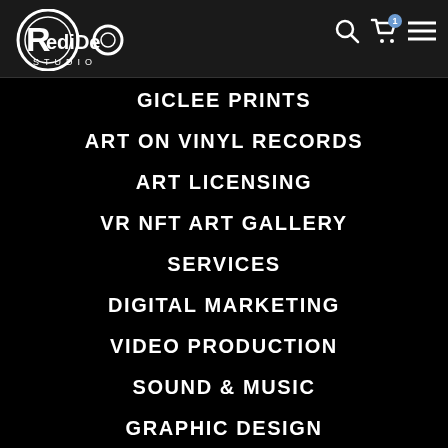[Figure (logo): Redideo Studio logo — circular emblem with R inside and STUDIO text below, white on dark background]
GICLEE PRINTS
ART ON VINYL RECORDS
ART LICENSING
VR NFT ART GALLERY
SERVICES
DIGITAL MARKETING
VIDEO PRODUCTION
SOUND & MUSIC
GRAPHIC DESIGN